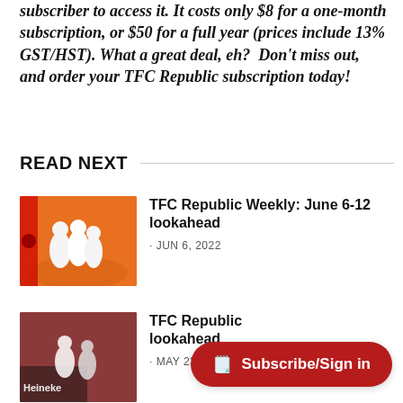subscriber to access it. It costs only $8 for a one-month subscription, or $50 for a full year (prices include 13% GST/HST). What a great deal, eh? Don't miss out, and order your TFC Republic subscription today!
READ NEXT
TFC Republic Weekly: June 6-12 lookahead
JUN 6, 2022
TFC Republic lookahead
MAY 23, 2022
Subscribe/Sign in